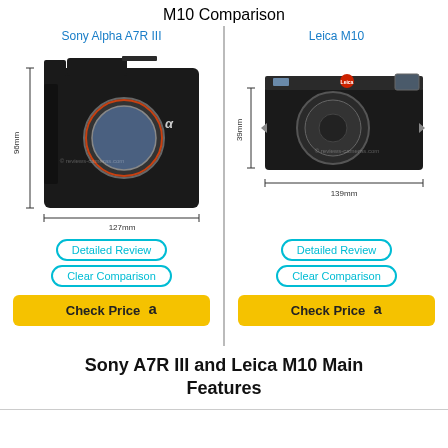M10 Comparison
Sony Alpha A7R III
Leica M10
[Figure (photo): Sony Alpha A7R III camera front view with dimension annotations: 96mm height, 127mm width]
[Figure (photo): Leica M10 camera front view with dimension annotations: 39mm height, 139mm width]
Detailed Review
Clear Comparison
Check Price
Detailed Review
Clear Comparison
Check Price
Sony A7R III and Leica M10 Main Features